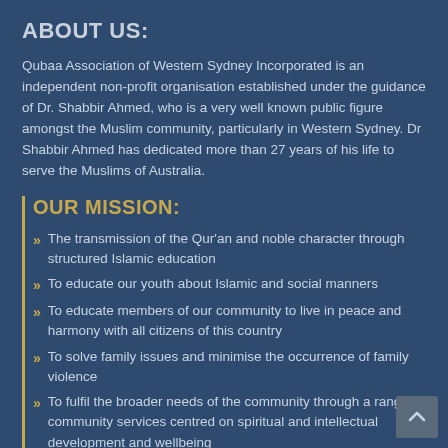ABOUT US:
Qubaa Association of Western Sydney Incorporated is an independent non-profit organisation established under the guidance of Dr. Shabbir Ahmed, who is a very well known public figure amongst the Muslim community, particularly in Western Sydney. Dr Shabbir Ahmed has dedicated more than 27 years of his life to serve the Muslims of Australia.
OUR MISSION:
The transmission of the Qur'an and noble character through structured Islamic education
To educate our youth about Islamic and social manners
To educate members of our community to live in peace and harmony with all citizens of this country
To solve family issues and minimise the occurrence of family violence
To fulfil the broader needs of the community through a range of community services centred on spiritual and intellectual development and wellbeing